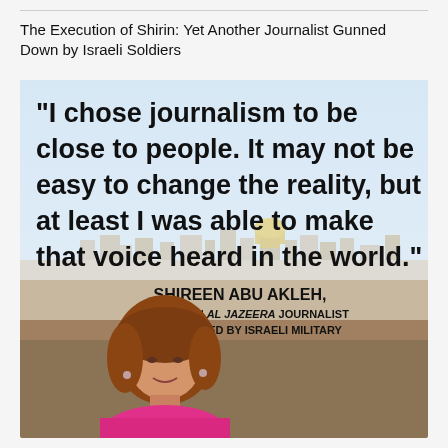The Execution of Shirin: Yet Another Journalist Gunned Down by Israeli Soldiers
[Figure (photo): Commemorative image of Shireen Abu Akleh with a large quote: "I chose journalism to be close to people. It may not be easy to change the reality, but at least I was able to make that voice heard in the world." Attribution reads: SHIREEN ABU AKLEH, PALESTINIAN AL JAZEERA JOURNALIST ASSASSINATED BY ISRAELI MILITARY. Background shows Jerusalem skyline with the Dome of the Rock. Foreground shows a photo of Shireen Abu Akleh, a woman with brown hair wearing a pink jacket.]